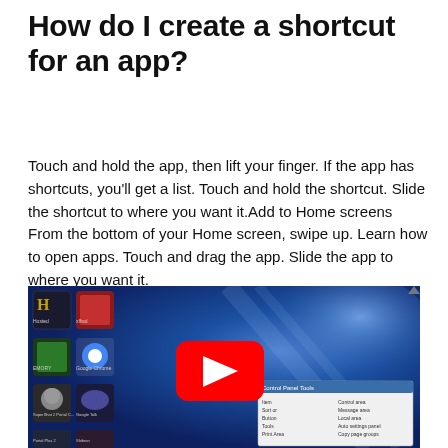How do I create a shortcut for an app?
Touch and hold the app, then lift your finger. If the app has shortcuts, you'll get a list. Touch and hold the shortcut. Slide the shortcut to where you want it.Add to Home screens From the bottom of your Home screen, swipe up. Learn how to open apps. Touch and drag the app. Slide the app to where you want it.
[Figure (screenshot): YouTube video thumbnail showing a Windows desktop screenshot with app icons on the left side, a blue gradient background, and a red YouTube play button in the center. A dialog box is visible in the lower right area.]